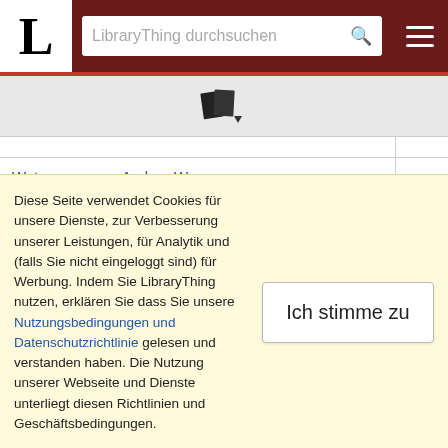LibraryThing durchsuchen
[Figure (logo): LibraryThing book icon/logo with dropdown arrow]
| Buch |  |
| --- | --- |
| Watercress von Andrea Wang |  |
| We Had a Little Real Estate Problem: The Unheralded Story of Native Americans & Comedy von Kliph Nesteroff |  |
| We Still Live von Sara Dobie Bauer |  |
| Weird Ohio: Your Travel Guide to Ohio's Local Legends and Best Kept Secrets von Loren ... |  |
Diese Seite verwendet Cookies für unsere Dienste, zur Verbesserung unserer Leistungen, für Analytik und (falls Sie nicht eingeloggt sind) für Werbung. Indem Sie LibraryThing nutzen, erklären Sie dass Sie unsere Nutzungsbedingungen und Datenschutzrichtlinie gelesen und verstanden haben. Die Nutzung unserer Webseite und Dienste unterliegt diesen Richtlinien und Geschäftsbedingungen.